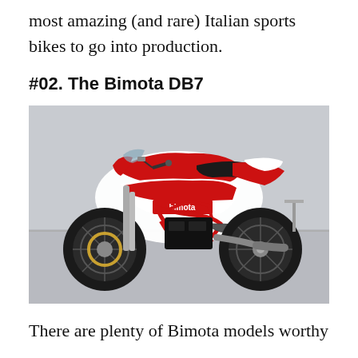most amazing (and rare) Italian sports bikes to go into production.
#02. The Bimota DB7
[Figure (photo): A red and white Bimota DB7 Italian sports motorcycle photographed from the left side, showing the exposed tubular red frame, single-sided swingarm, and bimota branding on the fairing. The bike is parked on a track or road surface with a blurred background.]
There are plenty of Bimota models worthy